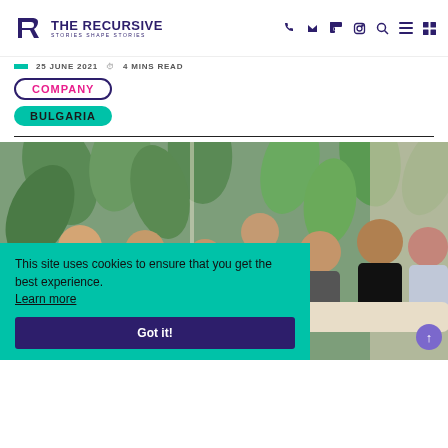THE RECURSIVE — Stories Shape Stories — navigation bar with social icons
25 JUNE 2021 · 4 MINS READ
COMPANY
BULGARIA
[Figure (photo): Group photo of approximately 8 people sitting and standing in front of a tropical leaf wallpaper, with a cookie consent banner overlay]
This site uses cookies to ensure that you get the best experience. Learn more
Got it!